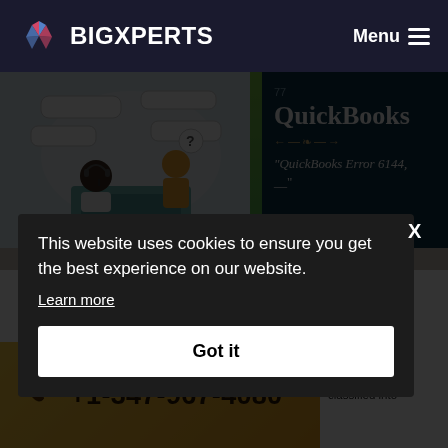BIGXPERTS — Menu
[Figure (screenshot): BigXperts website screenshot showing QuickBooks Error 6144 page with cookie consent overlay and phone number bar]
This website uses cookies to ensure you get the best experience on our website.
Learn more
Got it
+1-347-967-4080
overlooked. If lead to major classified into